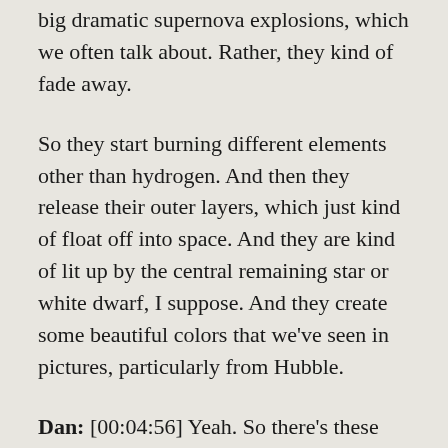big dramatic supernova explosions, which we often talk about. Rather, they kind of fade away.
So they start burning different elements other than hydrogen. And then they release their outer layers, which just kind of float off into space. And they are kind of lit up by the central remaining star or white dwarf, I suppose. And they create some beautiful colors that we've seen in pictures, particularly from Hubble.
Dan: [00:04:56] Yeah. So there's these sort of cloudy shapes around the central star, which are in numerous different colors once they've been tinted. I think the shapes are incredible. They're definitely some of the most eye catching images